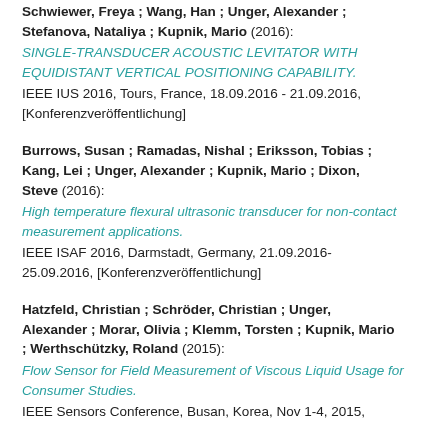Schwiewer, Freya ; Wang, Han ; Unger, Alexander ; Stefanova, Nataliya ; Kupnik, Mario (2016): SINGLE-TRANSDUCER ACOUSTIC LEVITATOR WITH EQUIDISTANT VERTICAL POSITIONING CAPABILITY. IEEE IUS 2016, Tours, France, 18.09.2016 - 21.09.2016, [Konferenzveröffentlichung]
Burrows, Susan ; Ramadas, Nishal ; Eriksson, Tobias ; Kang, Lei ; Unger, Alexander ; Kupnik, Mario ; Dixon, Steve (2016): High temperature flexural ultrasonic transducer for non-contact measurement applications. IEEE ISAF 2016, Darmstadt, Germany, 21.09.2016-25.09.2016, [Konferenzveröffentlichung]
Hatzfeld, Christian ; Schröder, Christian ; Unger, Alexander ; Morar, Olivia ; Klemm, Torsten ; Kupnik, Mario ; Werthschützky, Roland (2015): Flow Sensor for Field Measurement of Viscous Liquid Usage for Consumer Studies. IEEE Sensors Conference, Busan, Korea, Nov 1-4, 2015,